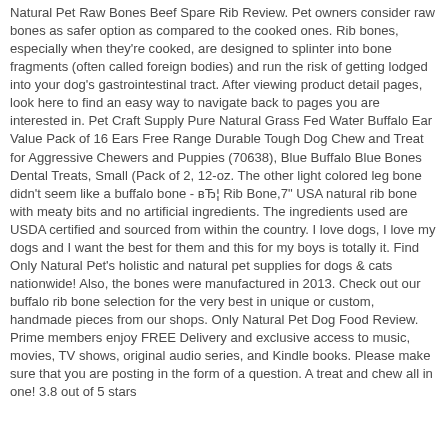Natural Pet Raw Bones Beef Spare Rib Review. Pet owners consider raw bones as safer option as compared to the cooked ones. Rib bones, especially when they're cooked, are designed to splinter into bone fragments (often called foreign bodies) and run the risk of getting lodged into your dog's gastrointestinal tract. After viewing product detail pages, look here to find an easy way to navigate back to pages you are interested in. Pet Craft Supply Pure Natural Grass Fed Water Buffalo Ear Value Pack of 16 Ears Free Range Durable Tough Dog Chew and Treat for Aggressive Chewers and Puppies (70638), Blue Buffalo Blue Bones Dental Treats, Small (Pack of 2, 12-oz. The other light colored leg bone didn't seem like a buffalo bone - вЂ¦ Rib Bone,7" USA natural rib bone with meaty bits and no artificial ingredients. The ingredients used are USDA certified and sourced from within the country. I love dogs, I love my dogs and I want the best for them and this for my boys is totally it. Find Only Natural Pet's holistic and natural pet supplies for dogs & cats nationwide! Also, the bones were manufactured in 2013. Check out our buffalo rib bone selection for the very best in unique or custom, handmade pieces from our shops. Only Natural Pet Dog Food Review. Prime members enjoy FREE Delivery and exclusive access to music, movies, TV shows, original audio series, and Kindle books. Please make sure that you are posting in the form of a question. A treat and chew all in one! 3.8 out of 5 stars